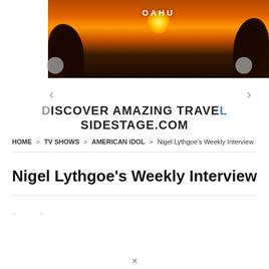[Figure (photo): Sunset over ocean with rocky silhouettes and OAHU text overlay, travel advertisement banner]
DISCOVER AMAZING TRAVEL SIDESTAGE.COM
HOME > TV SHOWS > AMERICAN IDOL > Nigel Lythgoe's Weekly Interview
Nigel Lythgoe's Weekly Interview
– –